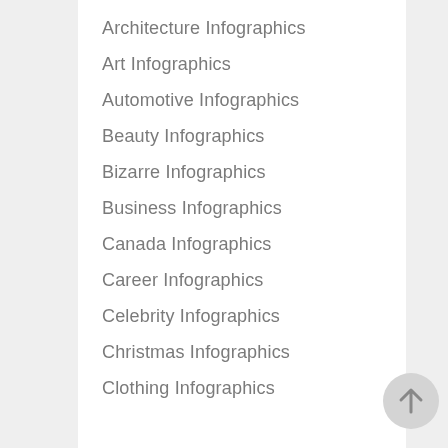Architecture Infographics
Art Infographics
Automotive Infographics
Beauty Infographics
Bizarre Infographics
Business Infographics
Canada Infographics
Career Infographics
Celebrity Infographics
Christmas Infographics
Clothing Infographics